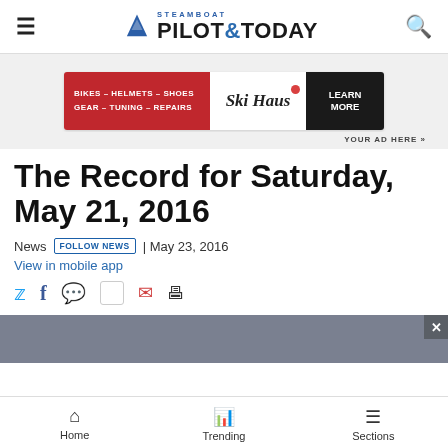Steamboat Pilot & Today
[Figure (illustration): Ski Haus advertisement banner: BIKES – HELMETS – SHOES / GEAR – TUNING – REPAIRS with Ski Haus logo and LEARN MORE button]
YOUR AD HERE »
The Record for Saturday, May 21, 2016
News  FOLLOW NEWS  | May 23, 2016
View in mobile app
Home   Trending   Sections